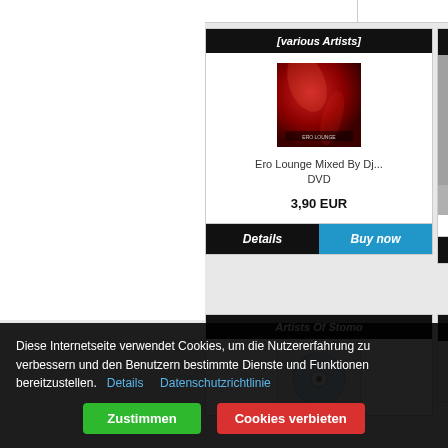[various Artists]
[Figure (photo): Red album cover for Ero Lounge Mixed By Dj... DVD]
Ero Lounge Mixed By Dj...
DVD
3,90 EUR
Details
Buy now
Raps
Artists Of Stomo
[Figure (photo): Partial blue/white disc image for Artists Of Stomo]
Diese Internetseite verwendet Cookies, um die Nutzererfahrung zu verbessern und den Benutzern bestimmte Dienste und Funktionen bereitzustellen.  Details    Datenschutzrichtlinie
Zustimmen
Cookies verbieten